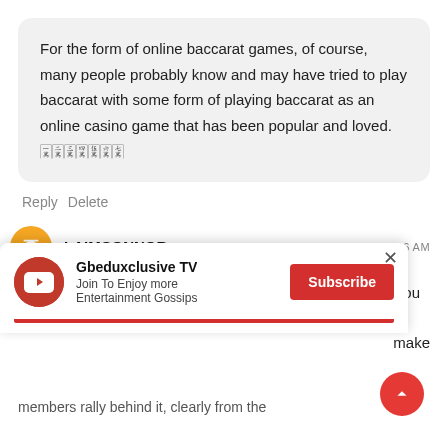For the form of online baccarat games, of course, many people probably know and may have tried to play baccarat with some form of playing baccarat as an online casino game that has been popular and loved. 🀇🀈🀉🀊🀋🀌🀍
Reply   Delete
LAIMCONNOR   SEPTEMBER 3, 2021 AT 8:06 AM
This is a shrewd blog. I would not joke about this. You have such a great amount of
[Figure (screenshot): YouTube subscribe notification popup for 'Gbeduxclusive TV' with 'Join To Enjoy more Entertainment Gossips' subtitle, Subscribe button, and close X button]
make
members rally behind it, clearly from the